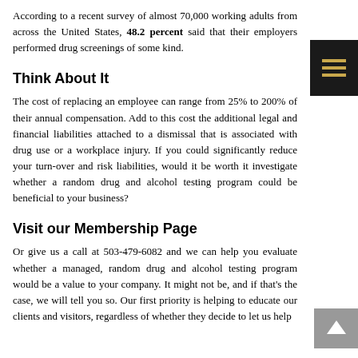According to a recent survey of almost 70,000 working adults from across the United States, 48.2 percent said that their employers performed drug screenings of some kind.
[Figure (other): Black menu icon with three horizontal gold/yellow bars on dark background]
Think About It
The cost of replacing an employee can range from 25% to 200% of their annual compensation. Add to this cost the additional legal and financial liabilities attached to a dismissal that is associated with drug use or a workplace injury. If you could significantly reduce your turn-over and risk liabilities, would it be worth it investigate whether a random drug and alcohol testing program could be beneficial to your business?
Visit our Membership Page
Or give us a call at 503-479-6082 and we can help you evaluate whether a managed, random drug and alcohol testing program would be a value to your company. It might not be, and if that's the case, we will tell you so. Our first priority is helping to educate our clients and visitors, regardless of whether they decide to let us help